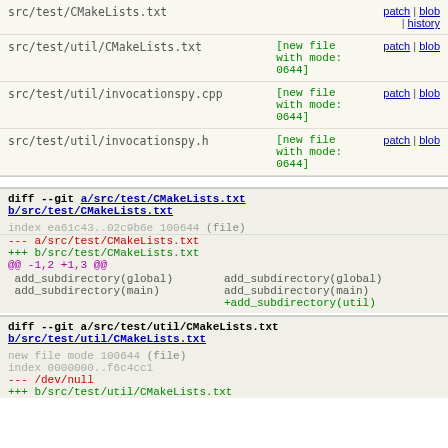| File | Mode | Links |
| --- | --- | --- |
| src/test/CMakeLists.txt |  | patch | blob | history |
| src/test/util/CMakeLists.txt | [new file with mode: 0644] | patch | blob |
| src/test/util/invocationspy.cpp | [new file with mode: 0644] | patch | blob |
| src/test/util/invocationspy.h | [new file with mode: 0644] | patch | blob |
diff --git a/src/test/CMakeLists.txt b/src/test/CMakeLists.txt
index ea61c43..02c9b6e 100644 (file)
--- a/src/test/CMakeLists.txt
+++ b/src/test/CMakeLists.txt
@@ -1,2 +1,3 @@
add_subdirectory(global)   add_subdirectory(global)
 add_subdirectory(main)     add_subdirectory(main)
                           +add_subdirectory(util)
diff --git a/src/test/util/CMakeLists.txt b/src/test/util/CMakeLists.txt
new file mode 100644 (file)
index 0000000..f6c4cc1
--- /dev/null
+++ b/src/test/util/CMakeLists.txt